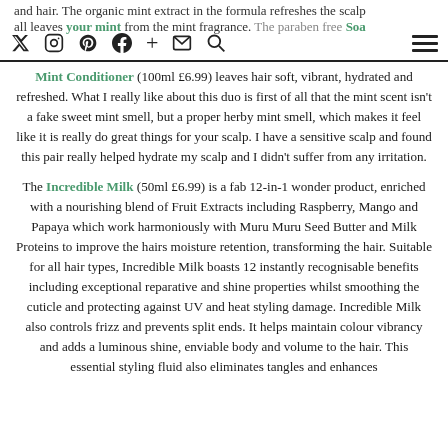Social media icons and navigation bar
and hair. The organic mint extract in the formula refreshes the scalp and leaves your hair fresh and full of fragrance. The paraben free Soak & Mint Conditioner (100ml £6.99) leaves hair soft, vibrant, hydrated and refreshed. What I really like about this duo is first of all that the mint scent isn't a fake sweet mint smell, but a proper herby mint smell, which makes it feel like it is really do great things for your scalp. I have a sensitive scalp and found this pair really helped hydrate my scalp and I didn't suffer from any irritation.
The Incredible Milk (50ml £6.99) is a fab 12-in-1 wonder product, enriched with a nourishing blend of Fruit Extracts including Raspberry, Mango and Papaya which work harmoniously with Muru Muru Seed Butter and Milk Proteins to improve the hairs moisture retention, transforming the hair. Suitable for all hair types, Incredible Milk boasts 12 instantly recognisable benefits including exceptional reparative and shine properties whilst smoothing the cuticle and protecting against UV and heat styling damage. Incredible Milk also controls frizz and prevents split ends. It helps maintain colour vibrancy and adds a luminous shine, enviable body and volume to the hair. This essential styling fluid also eliminates tangles and enhances the straight, intense and raising the hair beautifully soft health and...